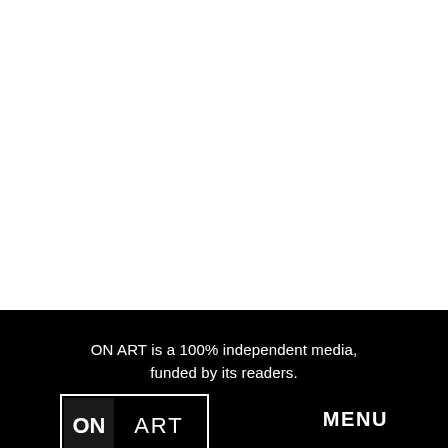[Figure (other): White empty area at top of page]
ON ART is a 100% independent media, funded by its readers.
[Figure (logo): ON ART logo: black rectangle with white border, ON in bold white on dark square, ART in thin white letters]
MENU